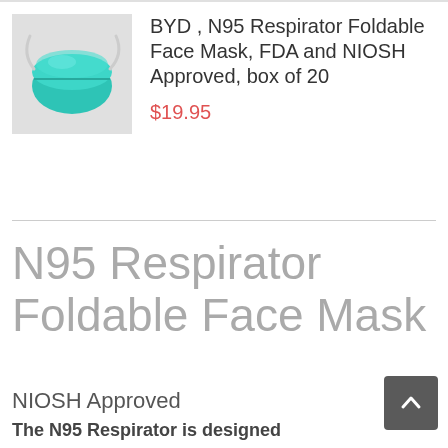[Figure (photo): BYD N95 Respirator Foldable Face Mask product photo on grey background — teal/turquoise folded mask with elastic straps]
BYD , N95 Respirator Foldable Face Mask, FDA and NIOSH Approved, box of 20
$19.95
N95 Respirator Foldable Face Mask
NIOSH Approved
The N95 Respirator is designed